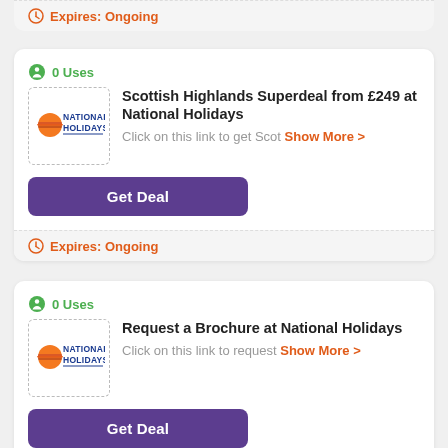Expires: Ongoing
0 Uses
Scottish Highlands Superdeal from £249 at National Holidays
Click on this link to get Scot Show More >
Get Deal
Expires: Ongoing
0 Uses
Request a Brochure at National Holidays
Click on this link to request Show More >
Get Deal
Expires: Ongoing